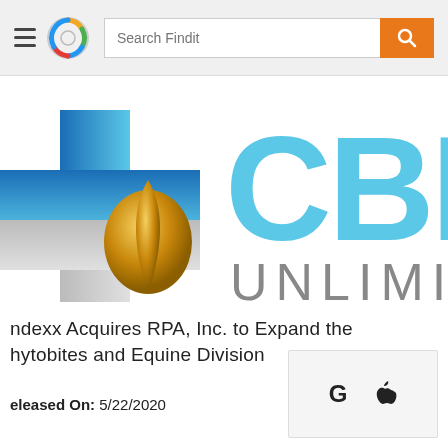Search Findit
[Figure (logo): CBD Unlimited logo with blue cross shape and golden oil drop, with text CBD UNLIMITED]
ndexx Acquires RPA, Inc. to Expand the hytobites and Equine Division
eleased On: 5/22/2020
[Figure (other): Sign-in buttons with G (Google) and Apple logo]